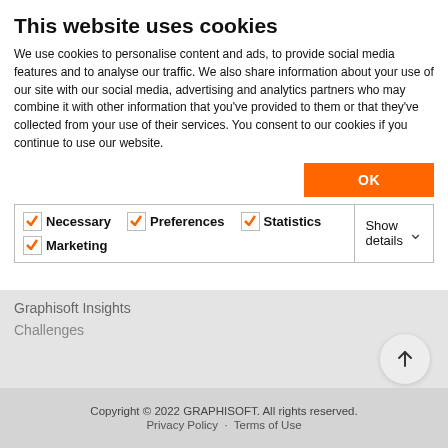This website uses cookies
We use cookies to personalise content and ads, to provide social media features and to analyse our traffic. We also share information about your use of our site with our social media, advertising and analytics partners who may combine it with other information that you've provided to them or that they've collected from your use of their services. You consent to our cookies if you continue to use our website.
| ☑ Necessary | ☑ Preferences | ☑ Statistics | Show details ∨ |
| ☑ Marketing |  |  |  |
Graphisoft Insights
Challenges
[Figure (other): Scroll to top button with upward arrow]
Powered by
[Figure (logo): Khoros logo with stylized angle bracket icon]
Copyright © 2022 GRAPHISOFT. All rights reserved.
Privacy Policy · Terms of Use